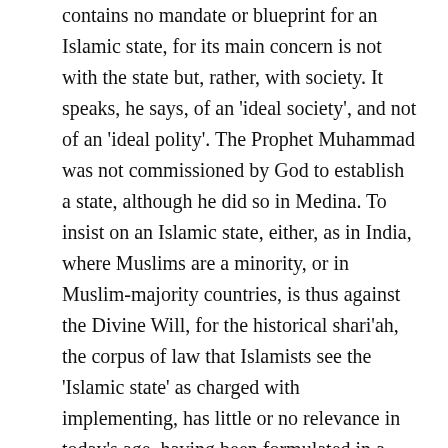contains no mandate or blueprint for an Islamic state, for its main concern is not with the state but, rather, with society. It speaks, he says, of an 'ideal society', and not of an 'ideal polity'. The Prophet Muhammad was not commissioned by God to establish a state, although he did so in Medina. To insist on an Islamic state, either, as in India, where Muslims are a minority, or in Muslim-majority countries, is thus against the Divine Will, for the historical shari'ah, the corpus of law that Islamists see the 'Islamic state' as charged with implementing, has little or no relevance in today's age, having been formulated in a completely different context.
This does not, however, mean that Islam has nothing to say about politics. Engineer argues that